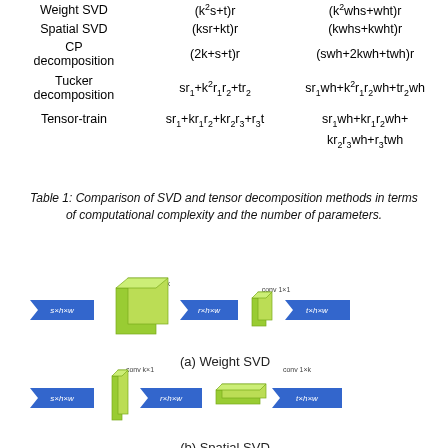| Method | # Parameters | Computation |
| --- | --- | --- |
| Weight SVD | (k²s+t)r | (k²whs+wht)r |
| Spatial SVD | (ksr+kt)r | (kwhs+kwht)r |
| CP decomposition | (2k+s+t)r | (swh+2kwh+twh)r |
| Tucker decomposition | sr₁+k²r₁r₂+tr₂ | sr₁wh+k²r₁r₂wh+tr₂wh |
| Tensor-train | sr₁+kr₁r₂+kr₂r₃+r₃t | sr₁wh+kr₁r₂wh+kr₂r₃wh+r₃twh |
Table 1: Comparison of SVD and tensor decomposition methods in terms of computational complexity and the number of parameters.
[Figure (illustration): Diagram showing Weight SVD decomposition: s×h×w tensor → conv k×k block → r×h×w → conv 1×1 small block → t×h×w]
(a) Weight SVD
[Figure (illustration): Diagram showing Spatial SVD decomposition: s×h×w tensor → conv k×1 tall block → r×h×w → conv 1×k wide block → t×h×w]
(b) Spatial SVD